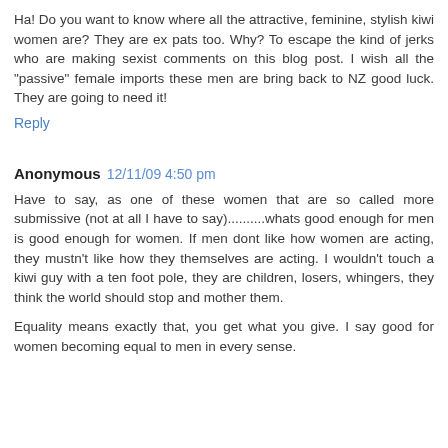Ha! Do you want to know where all the attractive, feminine, stylish kiwi women are? They are ex pats too. Why? To escape the kind of jerks who are making sexist comments on this blog post. I wish all the "passive" female imports these men are bring back to NZ good luck. They are going to need it!
Reply
Anonymous  12/11/09 4:50 pm
Have to say, as one of these women that are so called more submissive (not at all I have to say)..........whats good enough for men is good enough for women. If men dont like how women are acting, they mustn't like how they themselves are acting. I wouldn't touch a kiwi guy with a ten foot pole, they are children, losers, whingers, they think the world should stop and mother them.
Equality means exactly that, you get what you give. I say good for women becoming equal to men in every sense.